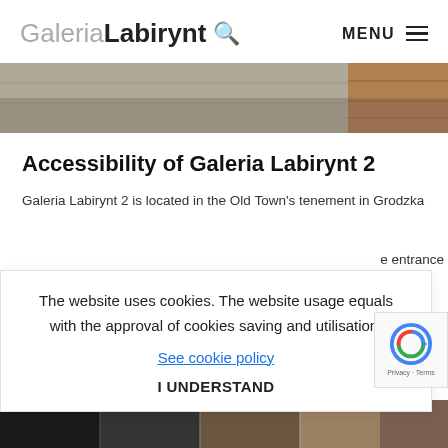Galeria Labirynt  MENU
[Figure (photo): Hero image strip showing stone/gravel texture on the left portion and warm brown wooden texture on the right portion]
Accessibility of Galeria Labirynt 2
Galeria Labirynt 2 is located in the Old Town’s tenement in Grodzka
e entrance
The website uses cookies. The website usage equals with the approval of cookies saving and utilisation.
See cookie policy
I UNDERSTAND
here. Then
[Figure (photo): reCAPTCHA widget with spinning arrow logo and Privacy - Terms text]
[Figure (photo): Bottom image strip showing dark and warm-toned textures]